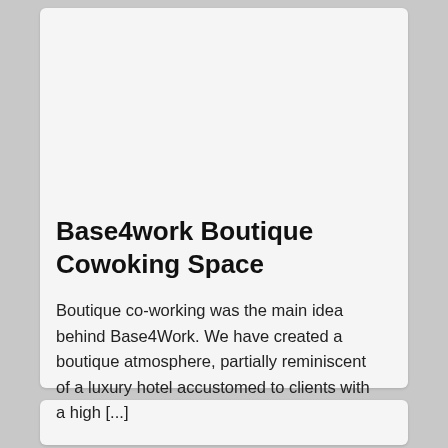Base4work Boutique Cowoking Space
Boutique co-working was the main idea behind Base4Work. We have created a boutique atmosphere, partially reminiscent of a luxury hotel accustomed to clients with a high [...]